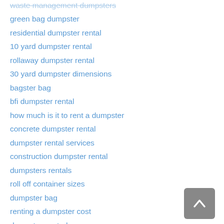waste management dumpsters
green bag dumpster
residential dumpster rental
10 yard dumpster rental
rollaway dumpster rental
30 yard dumpster dimensions
bagster bag
bfi dumpster rental
how much is it to rent a dumpster
concrete dumpster rental
dumpster rental services
construction dumpster rental
dumpsters rentals
roll off container sizes
dumpster bag
renting a dumpster cost
dumpster central
order dumpster
rolloff dumpster